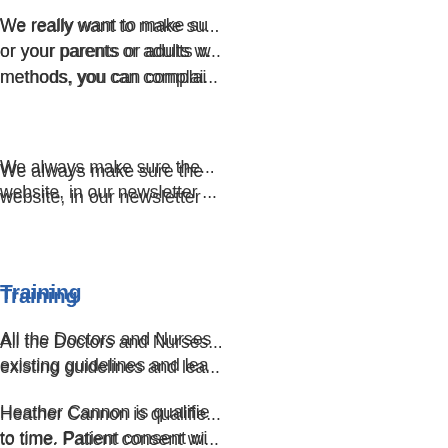We really want to make sure... or your parents or adults w... methods, you can complai...
We always make sure the... website, in our newsletter ...
Training
All the Doctors and Nurses... existing guidelines and lea...
Heather Cannon is qualifie... to time. Patient consent wi...
Try the new NHS App...
If you're a patient at our pr... range of NHS services on...
You can use the NHS App... prescriptions, view your C...